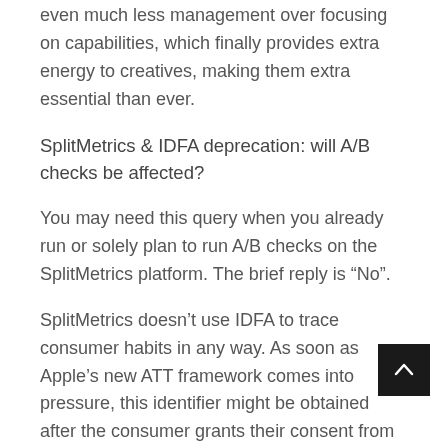even much less management over focusing on capabilities, which finally provides extra energy to creatives, making them extra essential than ever.
SplitMetrics & IDFA deprecation: will A/B checks be affected?
You may need this query when you already run or solely plan to run A/B checks on the SplitMetrics platform. The brief reply is “No”.
SplitMetrics doesn’t use IDFA to trace consumer habits in any way. As soon as Apple’s new ATT framework comes into pressure, this identifier might be obtained after the consumer grants their consent from inside the iOS app.
In flip, our A/B testing platform offers with the pro